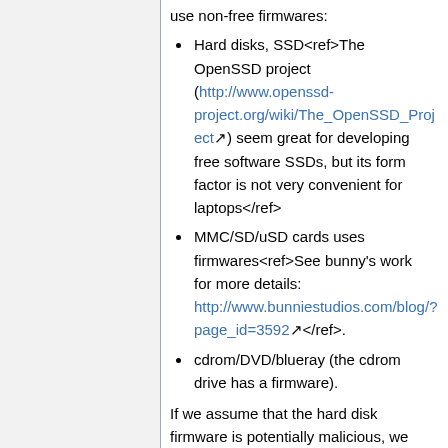use non-free firmwares:
Hard disks, SSD<ref>The OpenSSD project (http://www.openssd-project.org/wiki/The_OpenSSD_Project) seem great for developing free software SSDs, but its form factor is not very convenient for laptops</ref>
MMC/SD/uSD cards uses firmwares<ref>See bunny's work for more details: http://www.bunniestudios.com/blog/?page_id=3592</ref>.
cdrom/DVD/blueray (the cdrom drive has a firmware).
If we assume that the hard disk firmware is potentially malicious, we then can workaround it by making sure that the code stored on that disk is not modified on the fly by the hard disk firmware.